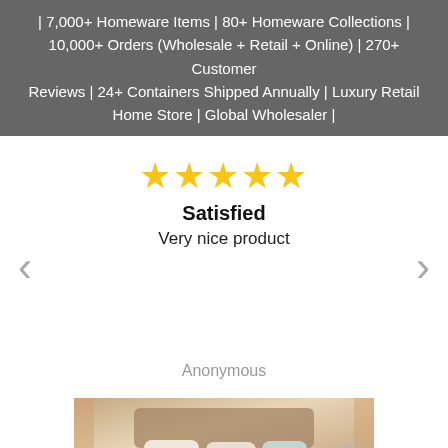| 7,000+ Homeware Items | 80+ Homeware Collections | 10,000+ Orders (Wholesale + Retail + Online) | 270+ Customer Reviews | 24+ Containers Shipped Annually | Luxury Retail Home Store | Global Wholesaler |
[Figure (other): Five gold star rating icons displayed in a row]
Satisfied
Very nice product
<
>
Anonymous
[Figure (photo): A bedroom interior photo showing a bed with white pillows and soft furnishings, with curtains in the background]